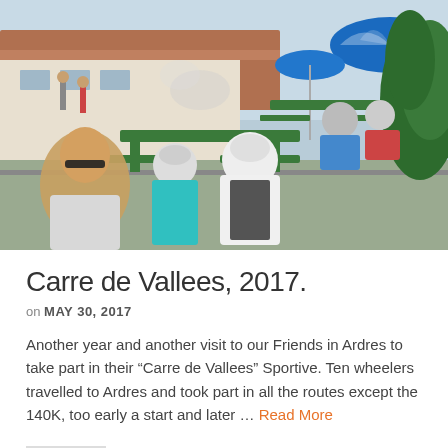[Figure (photo): Cyclists in racing jerseys and helmets seated at green picnic tables at an outdoor rest stop. A woman with sunglasses and blonde hair is prominent in the foreground. Blue Pepsi umbrella visible in the background along with a building and greenery.]
Carre de Vallees, 2017.
on MAY 30, 2017
Another year and another visit to our Friends in Ardres to take part in their “Carre de Vallees” Sportive. Ten wheelers travelled to Ardres and took part in all the routes except the 140K, too early a start and later … Read More